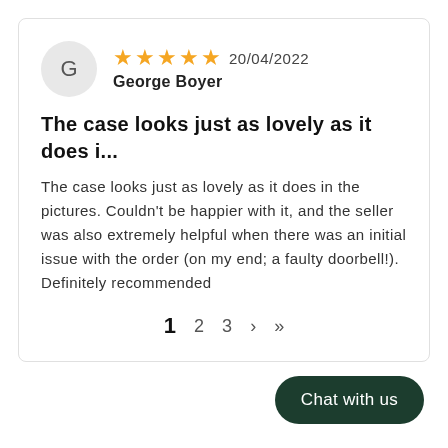G
★★★★★ 20/04/2022
George Boyer
The case looks just as lovely as it does i...
The case looks just as lovely as it does in the pictures. Couldn't be happier with it, and the seller was also extremely helpful when there was an initial issue with the order (on my end; a faulty doorbell!). Definitely recommended
1  2  3  >  >|
Chat with us